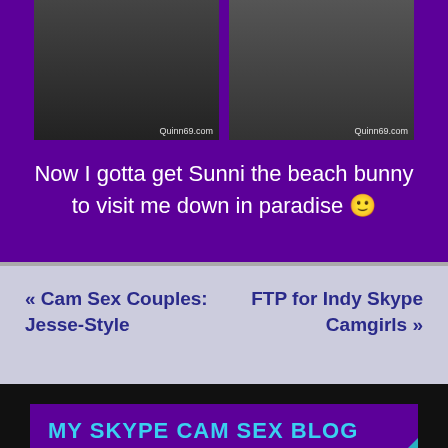[Figure (photo): Two side-by-side adult content photos with watermarks reading Quinn69.com]
Now I gotta get Sunni the beach bunny to visit me down in paradise 🙂
« Cam Sex Couples: Jesse-Style
FTP for Indy Skype Camgirls »
MY SKYPE CAM SEX BLOG
Welcome to the wicked world of skype webcam sex and independent camgirls